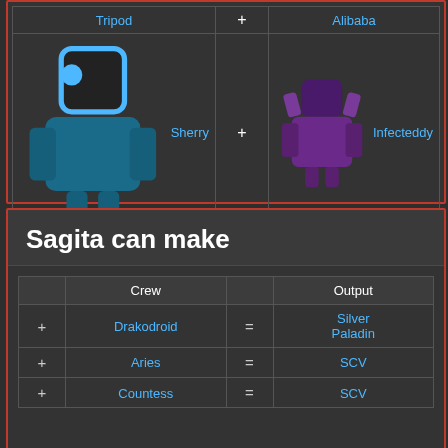|  | + |  |
| --- | --- | --- |
| Tripod | + | Alibaba |
| Sherry | + | Infecteddy |
| Infecteddy | + | Infecteddy |
Sagita can make
|  | Crew | = | Output |
| --- | --- | --- | --- |
| + | Drakodroid | = | Silver Paladin |
| + | Aries | = | SCV |
| + | Countess | = | SCV |